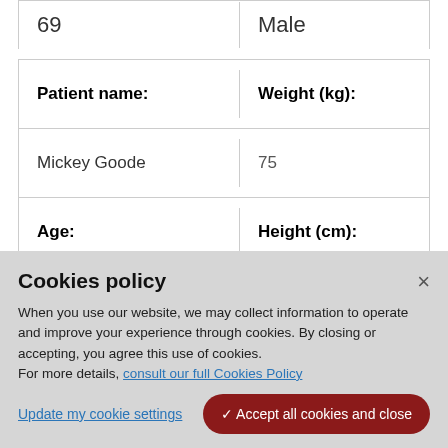| 69 | Male |
| Patient name: | Weight (kg): |
| Mickey Goode | 75 |
| Age: | Height (cm): |
Cookies policy
When you use our website, we may collect information to operate and improve your experience through cookies. By closing or accepting, you agree this use of cookies. For more details, consult our full Cookies Policy
Update my cookie settings
✓ Accept all cookies and close